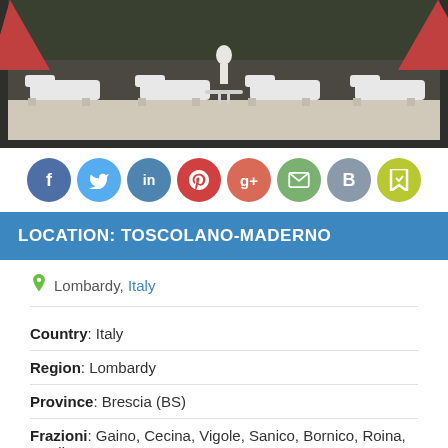[Figure (photo): Outdoor pool area with white lounge chairs and umbrella, dark background with greenery]
[Figure (infographic): Social media sharing icons: Facebook, Twitter, LinkedIn, Pinterest, Google+, Email, Blogger, Save]
LOCATION: TOSCOLANO-MADERNO
Lombardy, Italy
Country: Italy
Region: Lombardy
Province: Brescia (BS)
Frazioni: Gaino, Cecina, Vigole, Sanico, Bornico, Roina, Maclino
Government
Mayor: Delia Castellini
Area